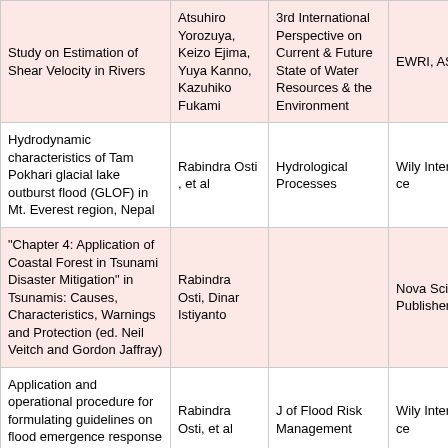| Title | Author | Publication | Publisher |
| --- | --- | --- | --- |
| Study on Estimation of Shear Velocity in Rivers | Atsuhiro Yorozuya, Keizo Ejima, Yuya Kanno, Kazuhiko Fukami | 3rd International Perspective on Current & Future State of Water Resources & the Environment | EWRI, ASCE |
| Hydrodynamic characteristics of Tam Pokhari glacial lake outburst flood (GLOF) in Mt. Everest region, Nepal | Rabindra Osti , et al | Hydrological Processes | Wily Interscience |
| "Chapter 4: Application of Coastal Forest in Tsunami Disaster Mitigation" in Tsunamis: Causes, Characteristics, Warnings and Protection (ed. Neil Veitch and Gordon Jaffray) | Rabindra Osti, Dinar Istiyanto |  | Nova Science Publishers |
| Application and operational procedure for formulating guidelines on flood emergence response mapping for public use | Rabindra Osti, et al | J of Flood Risk Management | Wily Interscience |
| ... | Shoji ... | 33rd International ... | International ... |